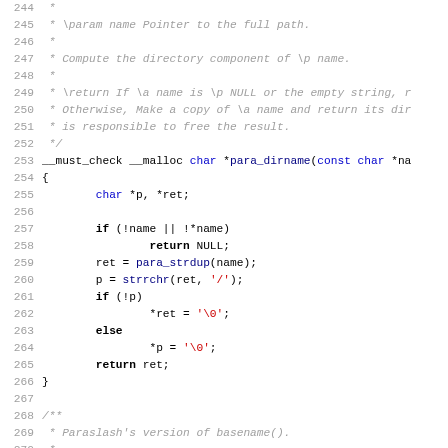Source code listing, lines 244-275, showing para_dirname and para_basename functions in C with Doxygen comments.